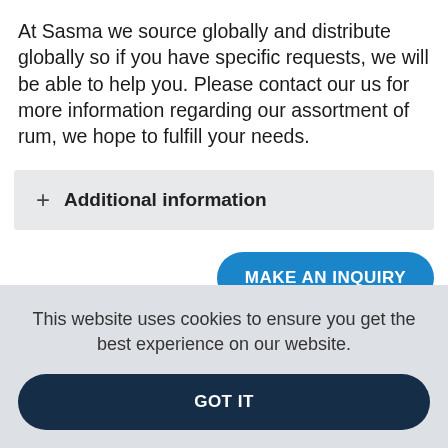At Sasma we source globally and distribute globally so if you have specific requests, we will be able to help you. Please contact our us for more information regarding our assortment of rum, we hope to fulfill your needs.
+ Additional information
MAKE AN INQUIRY
This website uses cookies to ensure you get the best experience on our website.
GOT IT